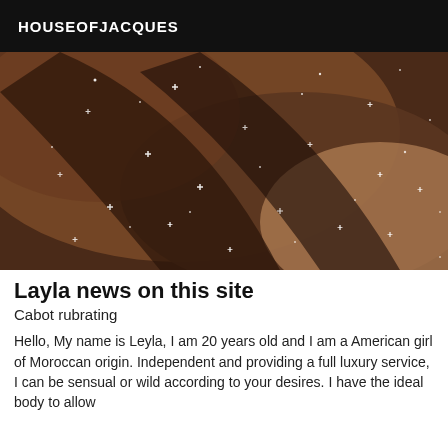HOUSEOFJACQUES
[Figure (photo): Close-up photo of skin with sparkle/glitter effects overlaid]
Layla news on this site
Cabot rubrating
Hello, My name is Leyla, I am 20 years old and I am a American girl of Moroccan origin. Independent and providing a full luxury service, I can be sensual or wild according to your desires. I have the ideal body to allow